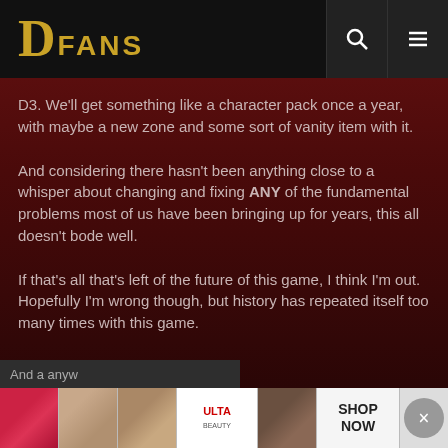DFANS
D3. We'll get something like a character pack once a year, with maybe a new zone and some sort of vanity item with it.
And considering there hasn't been anything close to a whisper about changing and fixing ANY of the fundamental problems most of us have been bringing up for years, this all doesn't bode well.
If that's all that's left of the future of this game, I think I'm out. Hopefully I'm wrong though, but history has repeated itself too many times with this game.
[Figure (screenshot): ULTA beauty advertisement banner with makeup imagery and SHOP NOW call to action]
And a anyw